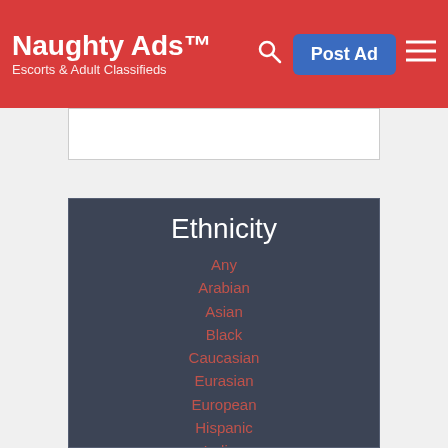Naughty Ads™ — Escorts & Adult Classifieds
[Figure (other): Advertisement banner placeholder (white rectangle)]
Ethnicity
Any
Arabian
Asian
Black
Caucasian
Eurasian
European
Hispanic
Indian
Japanese
Korean
Polynesian
Russian